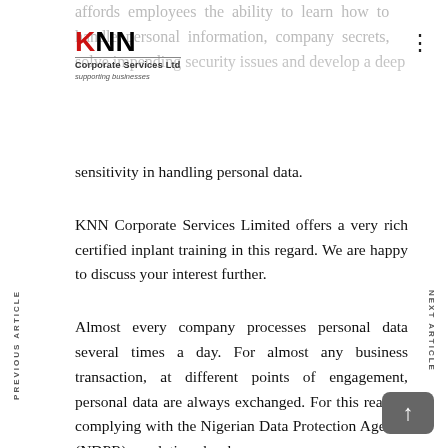[Figure (logo): KNN Corporate Services Ltd logo with red K and black NN letters, subtitle 'Corporate Services Ltd' and tagline 'supporting businesses']
affords employees the ability to learn how to handle personal information, company secrets, solve impending security issues and develop a deep sensitivity in handling personal data.
KNN Corporate Services Limited offers a very rich certified inplant training in this regard. We are happy to discuss your interest further.
Almost every company processes personal data several times a day. For almost any business transaction, at different points of engagement, personal data are always exchanged. For this reason, complying with the Nigerian Data Protection Agency (NDPR) regulations has become an